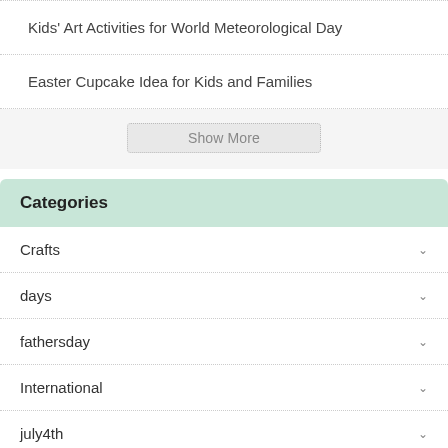Kids' Art Activities for World Meteorological Day
Easter Cupcake Idea for Kids and Families
Show More
Categories
Crafts
days
fathersday
International
july4th
National Holidays
Recipes